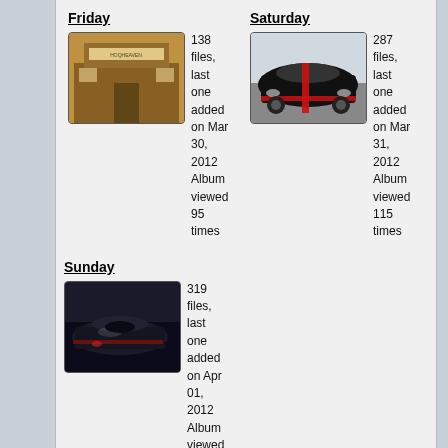Friday
138 files, last one added on Mar 30, 2012 Album viewed 95 times
[Figure (photo): Thumbnail photo of a building/shop interior entrance]
Saturday
287 files, last one added on Mar 31, 2012 Album viewed 115 times
[Figure (photo): Thumbnail photo of a black car with red stripes]
Sunday
319 files, last one added on Apr 01, 2012 Album viewed 115 times
[Figure (photo): Thumbnail photo of a dark race car scene]
3 albums on 1 page(s)
| Lights Out 3 | 4 | 763 |
| --- | --- | --- |
| Pre Race | Friday | 86 | 258 |
| --- | --- | --- | --- |